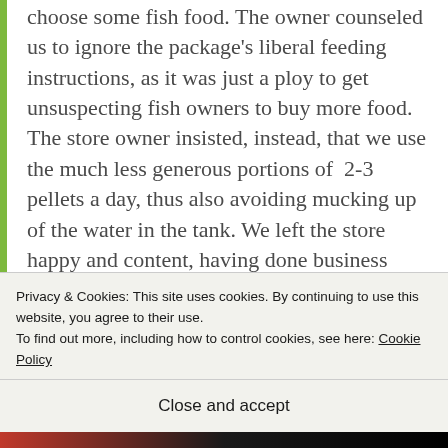choose some fish food.  The owner counseled us to ignore the package's liberal feeding instructions, as it was just a ploy to get unsuspecting fish owners to buy more food.  The store owner insisted, instead, that we use the much less generous portions of  2-3 pellets a day, thus also avoiding mucking up of the water in the tank.  We left the store happy and content, having done business with a local honest business owner.
[Figure (photo): Partial view of a photograph, partially obscured by a cookie consent banner. Text 'Then' visible to the right.]
Privacy & Cookies: This site uses cookies. By continuing to use this website, you agree to their use.
To find out more, including how to control cookies, see here: Cookie Policy
Close and accept